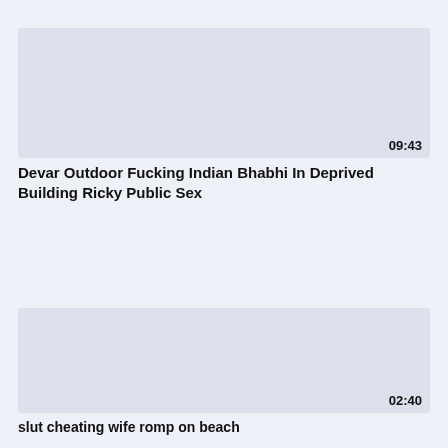[Figure (screenshot): Video thumbnail placeholder for first video, light gray/blue rectangle]
09:43
Devar Outdoor Fucking Indian Bhabhi In Deprived Building Ricky Public Sex
[Figure (screenshot): Video thumbnail placeholder for second video, light gray/blue rectangle]
02:40
slut cheating wife romp on beach